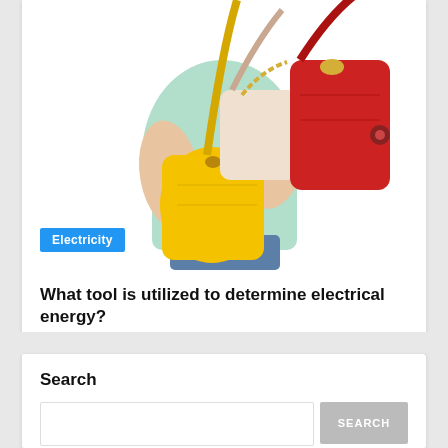[Figure (photo): Woman carrying multiple handbags including a yellow bag and a red bag, wearing a mint green top, cropped to show torso and arms only]
Electricity
What tool is utilized to determine electrical energy?
March 20, 2022
Search